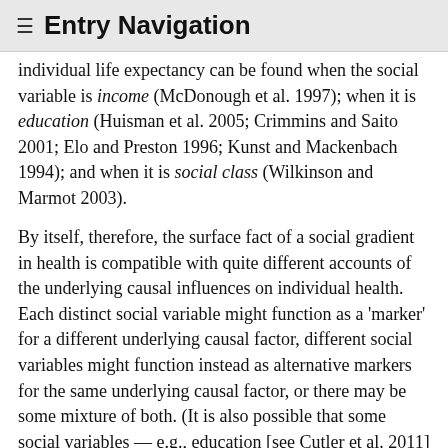≡ Entry Navigation
individual life expectancy can be found when the social variable is income (McDonough et al. 1997); when it is education (Huisman et al. 2005; Crimmins and Saito 2001; Elo and Preston 1996; Kunst and Mackenbach 1994); and when it is social class (Wilkinson and Marmot 2003).
By itself, therefore, the surface fact of a social gradient in health is compatible with quite different accounts of the underlying causal influences on individual health. Each distinct social variable might function as a 'marker' for a different underlying causal factor, different social variables might function instead as alternative markers for the same underlying causal factor, or there may be some mixture of both. (It is also possible that some social variables — e.g., education [see Cutler et al. 2011] — function as a relatively direct causal factor.)
Furthermore, it is not clear how much of the correlation between health and a given social variable is properly causal in the first place. In some cases, there is clearly some reverse causation: bad health leads to a social variable.